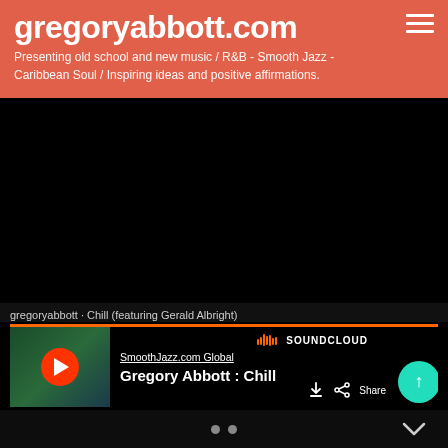gregoryabbott.com
Presenting old school and new music / R&B - Smooth Jazz - Caribbean Soul / Inspiring ideas and positive affirmations.
[Figure (screenshot): Black video embed area (YouTube or similar video embed, black/blank)]
gregoryabbott · Chill (featuring Gerald Albright)
[Figure (screenshot): SoundCloud embedded player showing Gregory Abbott : Chill track with play button, SmoothJazz.com Global source label, download and share icons, and up arrow circle button on green background]